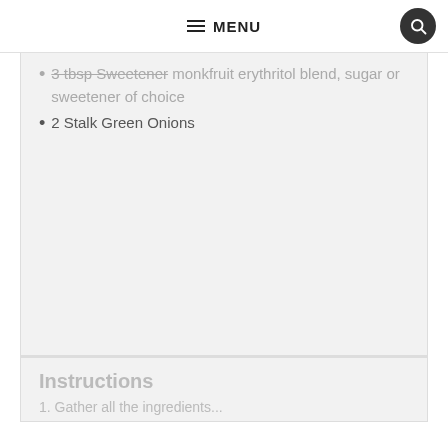MENU
3 tbsp Sweetener monkfruit erythritol blend, sugar or sweetener of choice
2 Stalk Green Onions
Instructions
1. Gather all the ingredients...